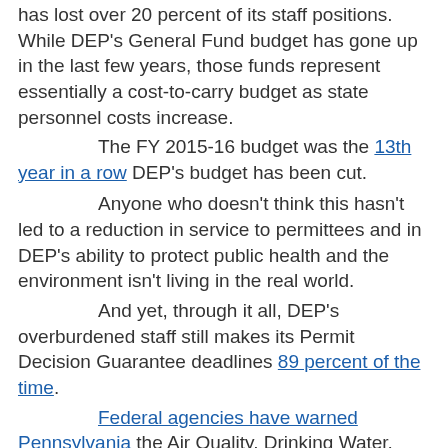has lost over 20 percent of its staff positions. While DEP's General Fund budget has gone up in the last few years, those funds represent essentially a cost-to-carry budget as state personnel costs increase.
The FY 2015-16 budget was the 13th year in a row DEP's budget has been cut.
Anyone who doesn't think this hasn't led to a reduction in service to permittees and in DEP's ability to protect public health and the environment isn't living in the real world.
And yet, through it all, DEP's overburdened staff still makes its Permit Decision Guarantee deadlines 89 percent of the time.
Federal agencies have warned Pennsylvania the Air Quality, Drinking Water, Surface Mining and Water Quality programs are dangerously under-resourced and are not meeting minimum standards to continue delegation if steps aren't taken.
DEP Secretaries from McGinty to Quigley, and from both parties, kept warning about the impact of these constant cuts, but nothing has been done and it keeps getting worse.
Reversing this trend is not only needed, it's necessary.
-- Information Technology: The backbone of any modern